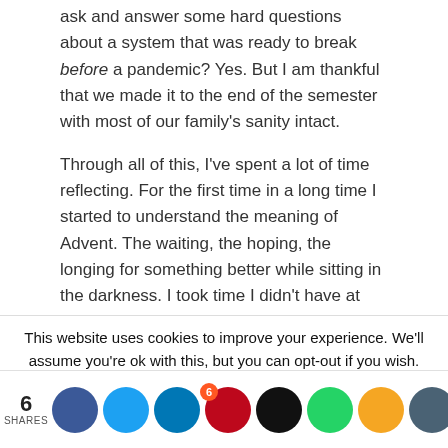ask and answer some hard questions about a system that was ready to break before a pandemic? Yes. But I am thankful that we made it to the end of the semester with most of our family's sanity intact.
Through all of this, I've spent a lot of time reflecting. For the first time in a long time I started to understand the meaning of Advent. The waiting, the hoping, the longing for something better while sitting in the darkness. I took time I didn't have at the end of…
This website uses cookies to improve your experience. We'll assume you're ok with this, but you can opt-out if you wish.
6 SHARES